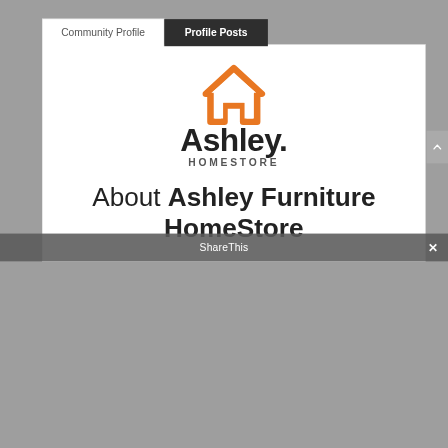Community Profile | Profile Posts
[Figure (logo): Ashley HomeStore logo: orange house outline icon above 'Ashley.' text with 'HOMESTORE' below in smaller caps]
About Ashley Furniture HomeStore
No matter which Ashley HomeStore location you visit, you'll find stylish, quality furniture that's just right for any room in the house. But we're much more than a furniture store
ShareThis ×